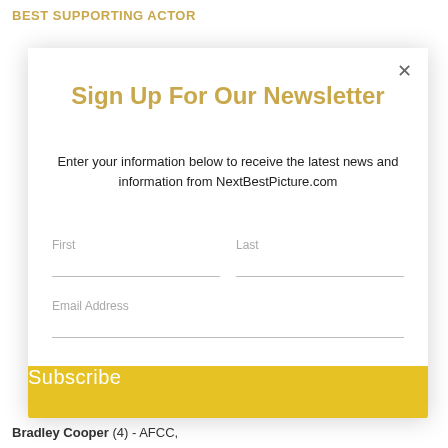BEST SUPPORTING ACTOR
Sign Up For Our Newsletter
Enter your information below to receive the latest news and information from NextBestPicture.com
First
Last
Email Address
Subscribe
Bradley Cooper (4) - AFCC,